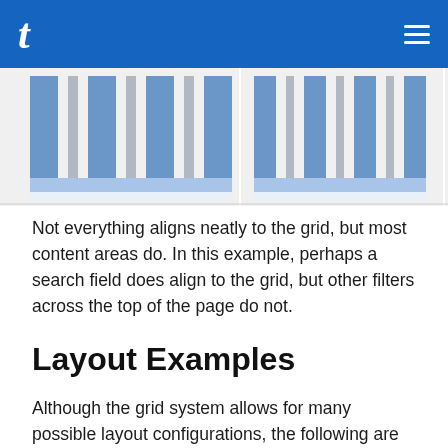t
[Figure (illustration): Grid layout diagram showing columns in blue and gray stripes across three sections with a light blue bottom band, representing a grid system visualization.]
Not everything aligns neatly to the grid, but most content areas do. In this example, perhaps a search field does align to the grid, but other filters across the top of the page do not.
Layout Examples
Although the grid system allows for many possible layout configurations, the following are some of the most common options for TM Product Design.